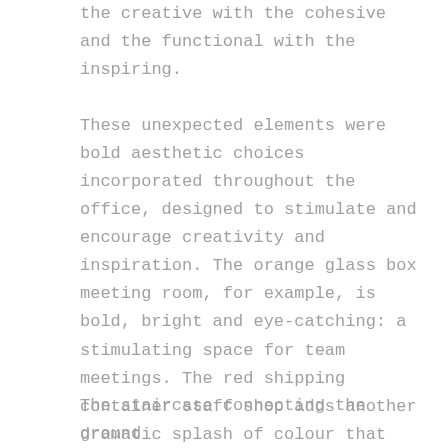the creative with the cohesive and the functional with the inspiring.
These unexpected elements were bold aesthetic choices incorporated throughout the office, designed to stimulate and encourage creativity and inspiration. The orange glass box meeting room, for example, is bold, bright and eye-catching: a stimulating space for team meetings. The red shipping container staff shop adds another dramatic splash of colour that creates an invigorating contrast to the surrounding finishes.
The staircase connecting the ground